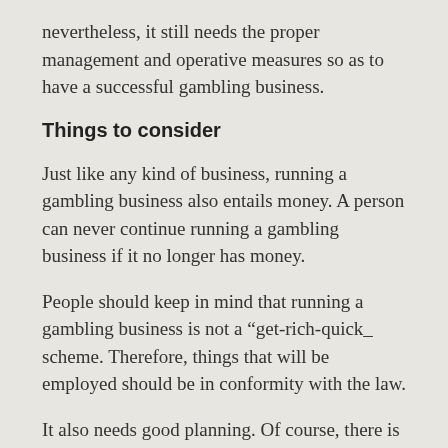nevertheless, it still needs the proper management and operative measures so as to have a successful gambling business.
Things to consider
Just like any kind of business, running a gambling business also entails money. A person can never continue running a gambling business if it no longer has money.
People should keep in mind that running a gambling business is not a “get-rich-quick_ scheme. Therefore, things that will be employed should be in conformity with the law.
It also needs good planning. Of course, there is nothing in this world that will be successful if not with good planning. Planning keeps the business right on